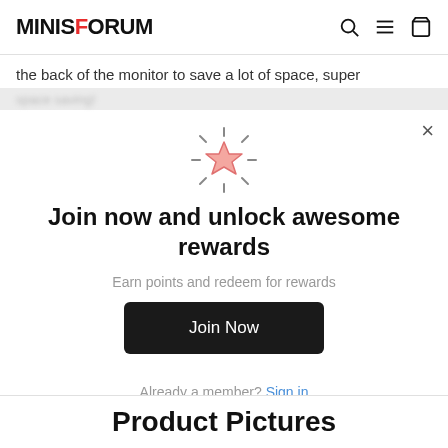MINISFORUM
the back of the monitor to save a lot of space, super
space saving!
[Figure (illustration): Glowing star icon with sparkle lines around it, salmon/pink colored star outline]
Join now and unlock awesome rewards
Earn points and redeem for rewards
Join Now
Already a member? Sign in
Product Pictures